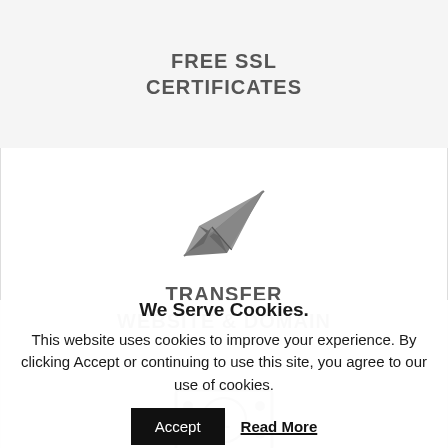FREE SSL CERTIFICATES
[Figure (illustration): Paper airplane / send icon in gray]
TRANSFER WEBSITE & DOMAIN
[Figure (illustration): Dollar bill / money icon with number 1 in center, gray]
We Serve Cookies.
This website uses cookies to improve your experience. By clicking Accept or continuing to use this site, you agree to our use of cookies.
Accept
Read More